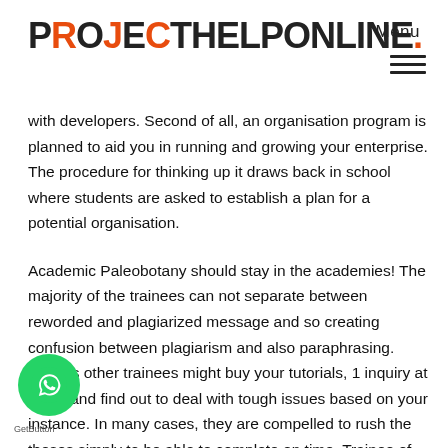PROJECTHELPONLINE. Menu
with developers. Second of all, an organisation program is planned to aid you in running and growing your enterprise. The procedure for thinking up it draws back in school where students are asked to establish a plan for a potential organisation.
Academic Paleobotany should stay in the academies! The majority of the trainees can not separate between reworded and plagiarized message and so creating confusion between plagiarism and also paraphrasing. Various other trainees might buy your tutorials, 1 inquiry at once, and find out to deal with tough issues based on your instance. In many cases, they are compelled to rush the theses simply to be able to complete on time. Trainee of Ton of money might basic to rack up some extra money when helping others with their inquiries. For me, it was not simply grad institution that let me locate my means.